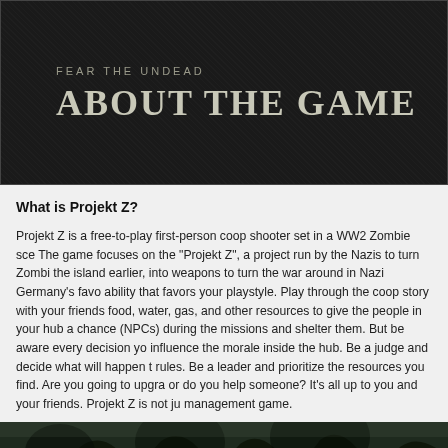[Figure (illustration): Dark banner image with diagonal texture pattern, subtitle 'FEAR THE UNDEAD' and large title 'ABOUT THE GAME' in a gothic/military style]
What is Projekt Z?
Projekt Z is a free-to-play first-person coop shooter set in a WW2 Zombie scene. The game focuses on the "Projekt Z", a project run by the Nazis to turn Zombies the island earlier, into weapons to turn the war around in Nazi Germany's favor. ability that favors your playstyle. Play through the coop story with your friends food, water, gas, and other resources to give the people in your hub a chance (NPCs) during the missions and shelter them. But be aware every decision you influence the morale inside the hub. Be a judge and decide what will happen to rules. Be a leader and prioritize the resources you find. Are you going to upgrade or do you help someone? It's all up to you and your friends. Projekt Z is not just management game.
[Figure (photo): Dark outdoor nighttime or dawn scene with trees silhouetted against a dim sky]